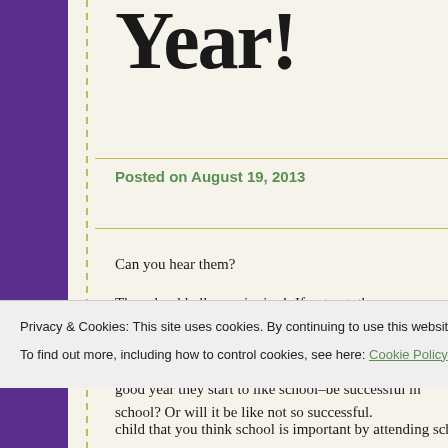Year!
Posted on August 19, 2013
Can you hear them?
The school bells are ringing!  If not yet, then very soon.
Parents and children alike are worrying.  Will this be a good year they start to like school–be successful in school? Or will it be like not so successful.
Privacy & Cookies: This site uses cookies. By continuing to use this website, you agree to their use.
To find out more, including how to control cookies, see here: Cookie Policy
child that you think school is important by attending school acti